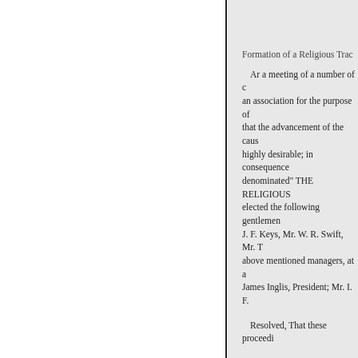Formation of a Religious Trac
Ar a meeting of a number of c an association for the purpose of that the advancement of the caus highly desirable; in consequence denominated" THE RELIGIOUS elected the following gentlemen J. F. Keys, Mr. W. R. Swift, Mr. T above mentioned managers, at a James Inglis, President; Mr. I. F.
Resolved, That these proceedi
ART. II. of the Constitution of th of this Society shall pay an annu other half at the expiration of six
May 13, 1816.